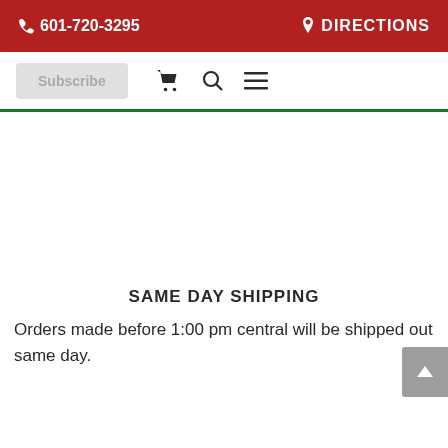📞 601-720-3295   📍 DIRECTIONS
[Figure (screenshot): Website navigation bar with Subscribe button, shopping cart icon, search icon, and hamburger menu icon]
SAME DAY SHIPPING
Orders made before 1:00 pm central will be shipped out same day.